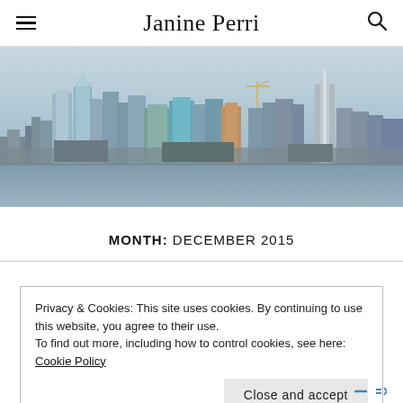Janine Perri
[Figure (photo): New York City skyline panorama viewed from across the Hudson River, showing midtown Manhattan skyscrapers including the Empire State Building, under a hazy sky.]
MONTH: DECEMBER 2015
Privacy & Cookies: This site uses cookies. By continuing to use this website, you agree to their use.
To find out more, including how to control cookies, see here: Cookie Policy